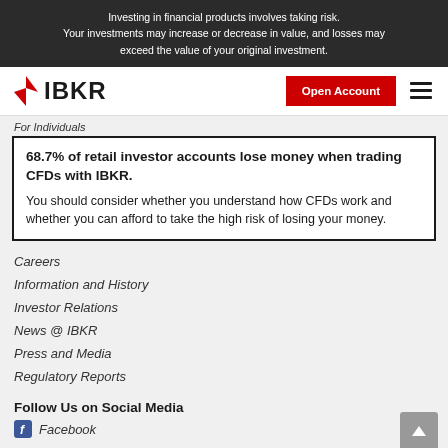Investing in financial products involves taking risk. Your investments may increase or decrease in value, and losses may exceed the value of your original investment.
[Figure (logo): IBKR (Interactive Brokers) logo with red arrow icon and bold IBKR text, plus Open Account red button and hamburger menu icon]
For Individuals
68.7% of retail investor accounts lose money when trading CFDs with IBKR. You should consider whether you understand how CFDs work and whether you can afford to take the high risk of losing your money.
Careers
Information and History
Investor Relations
News @ IBKR
Press and Media
Regulatory Reports
Follow Us on Social Media
Facebook